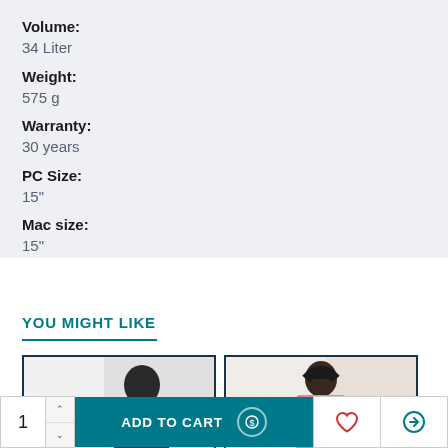Volume:
34 Liter
Weight:
575 g
Warranty:
30 years
PC Size:
15"
Mac size:
15"
YOU MIGHT LIKE
[Figure (photo): Young man wearing a backpack, product lifestyle photo]
[Figure (photo): Young woman wearing a pink jacket with a backpack, product lifestyle photo]